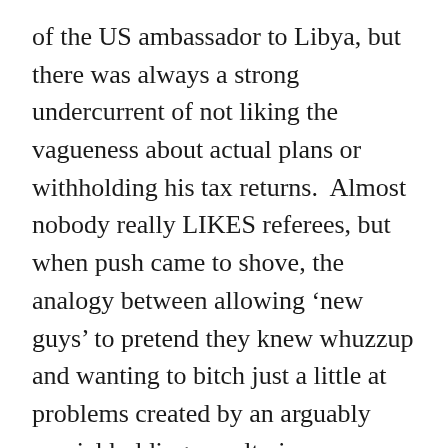of the US ambassador to Libya, but there was always a strong undercurrent of not liking the vagueness about actual plans or withholding his tax returns.  Almost nobody really LIKES referees, but when push came to shove, the analogy between allowing ‘new guys’ to pretend they knew whuzzup and wanting to bitch just a little at problems created by an arguably crucial holding penalty is serviceable.  Nobody said, “Hey, these guys are good! Who needs the regulars?” along the way, and even if the division between Dems and Repubs POVs is as profound as the first-place Yankees and bumbling Mets, Mitt had to bat better than a-buck-and-a-quarter to